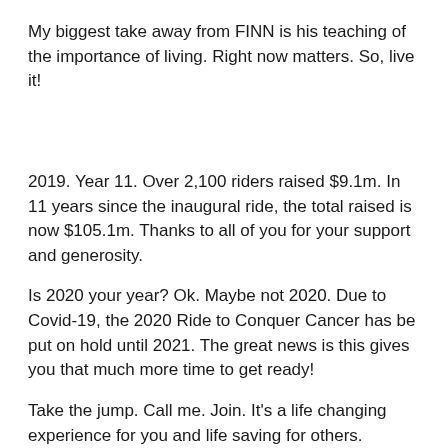My biggest take away from FINN is his teaching of the importance of living. Right now matters. So, live it!
2019. Year 11. Over 2,100 riders raised $9.1m. In 11 years since the inaugural ride, the total raised is now $105.1m. Thanks to all of you for your support and generosity.
Is 2020 your year? Ok. Maybe not 2020. Due to Covid-19, the 2020 Ride to Conquer Cancer has be put on hold until 2021. The great news is this gives you that much more time to get ready!
Take the jump. Call me. Join. It's a life changing experience for you and life saving for others.
Thanks,